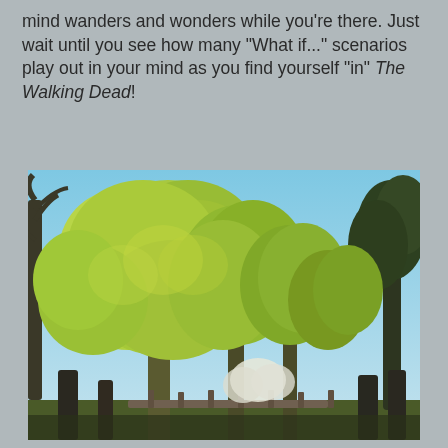mind wanders and wonders while you're there. Just wait until you see how many "What if..." scenarios play out in your mind as you find yourself "in" The Walking Dead!
[Figure (photo): Outdoor photograph showing tall leafy green trees in early spring foliage against a blue sky. Trees are densely packed, with yellow-green and darker green leaves. Some bare branches visible on sides. A fence or bridge structure is partially visible at the bottom of the image.]